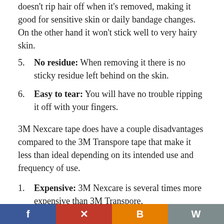doesn't rip hair off when it's removed, making it good for sensitive skin or daily bandage changes. On the other hand it won't stick well to very hairy skin.
No residue: When removing it there is no sticky residue left behind on the skin.
Easy to tear: You will have no trouble ripping it off with your fingers.
3M Nexcare tape does have a couple disadvantages compared to the 3M Transpore tape that make it less than ideal depending on its intended use and frequency of use.
Expensive: 3M Nexcare is several times more expensive than 3M Transpore.
Thicker: Although Nexcare rolls are half the length of